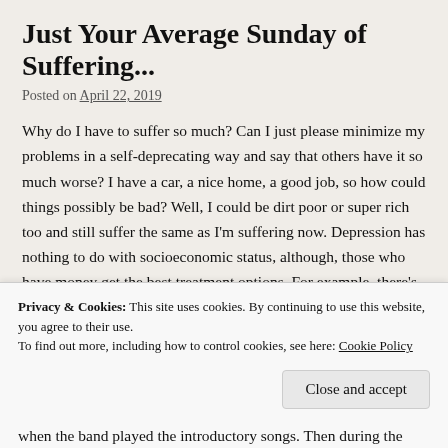Just Your Average Sunday of Suffering...
Posted on April 22, 2019
Why do I have to suffer so much? Can I just please minimize my problems in a self-deprecating way and say that others have it so much worse? I have a car, a nice home, a good job, so how could things possibly be bad? Well, I could be dirt poor or super rich too and still suffer the same as I'm suffering now. Depression has nothing to do with socioeconomic status, although, those who have money get the best treatment options. For example, there's a DBT program (dialectical behaviour therapy) but it would cost me an extra $1,100 per month and that's just not in my budget. My roommate is listening to something upbeat right now and it's driving me crazy. I want to tell her to shut it off.
Privacy & Cookies: This site uses cookies. By continuing to use this website, you agree to their use. To find out more, including how to control cookies, see here: Cookie Policy
when the band played the introductory songs. Then during the